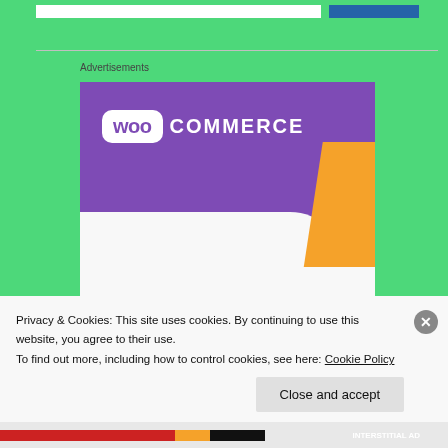[Figure (screenshot): Top navigation bar with white search box and blue button on green background]
Advertisements
[Figure (logo): WooCommerce advertisement image showing the WooCommerce logo in white on purple background with orange accent shape and 'How to' text below]
Privacy & Cookies: This site uses cookies. By continuing to use this website, you agree to their use.
To find out more, including how to control cookies, see here: Cookie Policy
Close and accept